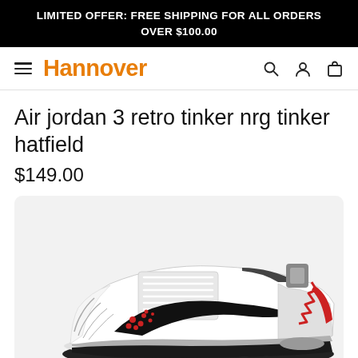LIMITED OFFER: FREE SHIPPING FOR ALL ORDERS OVER $100.00
Hannover
Air jordan 3 retro tinker nrg tinker hatfield
$149.00
[Figure (photo): Air Jordan 3 Retro Tinker NRG sneaker in white/black/red colorway, side profile view showing Nike swoosh, elephant print details, and red accents on heel and midsole]